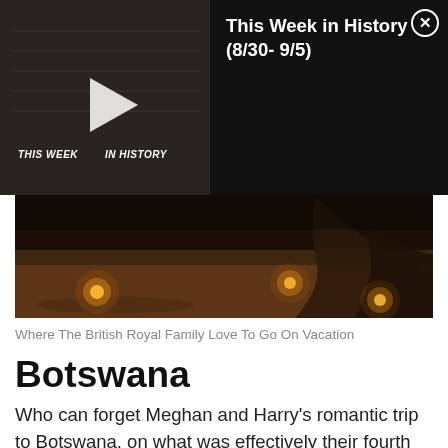[Figure (screenshot): Video thumbnail showing 'THIS WEEK IN HISTORY' text on dark background with play button]
This Week in History (8/30- 9/5)
[Figure (photo): Safari/outdoor nighttime scene with lanterns on ground and tree roots visible]
Where The British Royal Family Love To Go On Vacation
Botswana
Who can forget Meghan and Harry's romantic trip to Botswana, on what was effectively their fourth date?! In fact, it seems as though an African safari is precisely what you need if you want to bag yourself a prince, as William